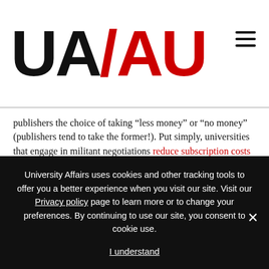[Figure (logo): University Affairs / AU logo with UA in black and AU in red with a red slash separator]
publishers the choice of taking “less money” or “no money” (publishers tend to take the former!). Put simply, universities that engage in militant negotiations reduce subscription costs paid to for-profit publishers.
In the Memorial case, responding to the review of five percent of a university’s journal collection with maudlin pleas, catastrophizing and hyperbole is myopic and erodes negotiating leverage. However, this conflict is not unique to Memorial. In response to similar journal cuts, Brock University faculty filed a grievance demanding that the cash-strapped
University Affairs uses cookies and other tracking tools to offer you a better experience when you visit our site. Visit our Privacy policy page to learn more or to change your preferences. By continuing to use our site, you consent to cookie use.

I understand